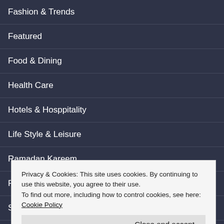Fashion & Trends
Featured
Food & Dining
Health Care
Hotels & Hosppitality
Life Style & Leisure
Ramadan Kareem
Real Estate
Sharjah Children Reading Festival
S
S
S
Technologies
Privacy & Cookies: This site uses cookies. By continuing to use this website, you agree to their use.
To find out more, including how to control cookies, see here: Cookie Policy
Close and accept